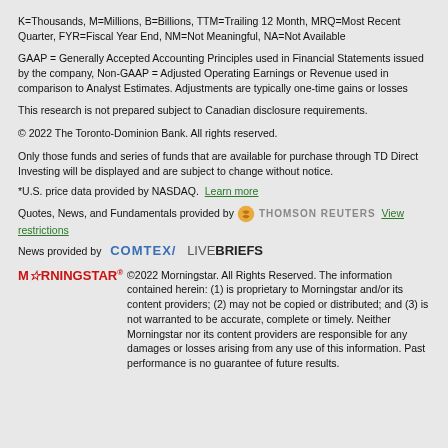K=Thousands, M=Millions, B=Billions, TTM=Trailing 12 Month, MRQ=Most Recent Quarter, FYR=Fiscal Year End, NM=Not Meaningful, NA=Not Available
GAAP = Generally Accepted Accounting Principles used in Financial Statements issued by the company, Non-GAAP = Adjusted Operating Earnings or Revenue used in comparison to Analyst Estimates. Adjustments are typically one-time gains or losses
This research is not prepared subject to Canadian disclosure requirements.
© 2022 The Toronto-Dominion Bank. All rights reserved.
Only those funds and series of funds that are available for purchase through TD Direct Investing will be displayed and are subject to change without notice.
*U.S. price data provided by NASDAQ.  Learn more
Quotes, News, and Fundamentals provided by  THOMSON REUTERS  View restrictions
News provided by  COMTEX/  LIVEBRIEFS
MORNINGSTAR® ©2022 Morningstar. All Rights Reserved. The information contained herein: (1) is proprietary to Morningstar and/or its content providers; (2) may not be copied or distributed; and (3) is not warranted to be accurate, complete or timely. Neither Morningstar nor its content providers are responsible for any damages or losses arising from any use of this information. Past performance is no guarantee of future results.